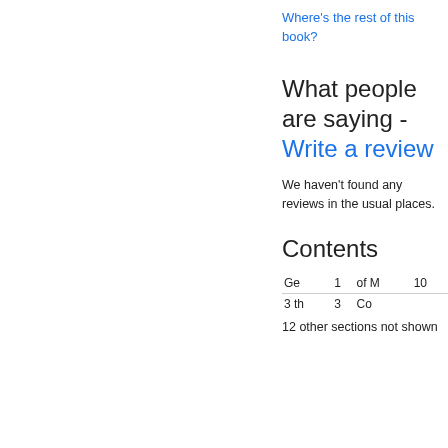Where's the rest of this book?
What people are saying - Write a review
We haven't found any reviews in the usual places.
Contents
|  |  |  |  |
| --- | --- | --- | --- |
| Ge | 1 | of M | 10 |
| 3 th | 3 | Co |  |
12 other sections not shown